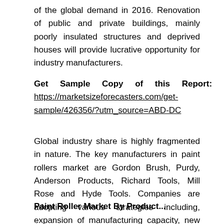of the global demand in 2016. Renovation of public and private buildings, mainly poorly insulated structures and deprived houses will provide lucrative opportunity for industry manufacturers.
Get Sample Copy of this Report: https://marketsizeforecasters.com/get-sample/426356/?utm_source=ABD-DC
Global industry share is highly fragmented in nature. The key manufacturers in paint rollers market are Gordon Brush, Purdy, Anderson Products, Richard Tools, Mill Rose and Hyde Tools. Companies are adopting various strategies including, expansion of manufacturing capacity, new product launch, agreements and collaborations to capture a major industry share and increase customer base.
Paint Roller Market By Product...